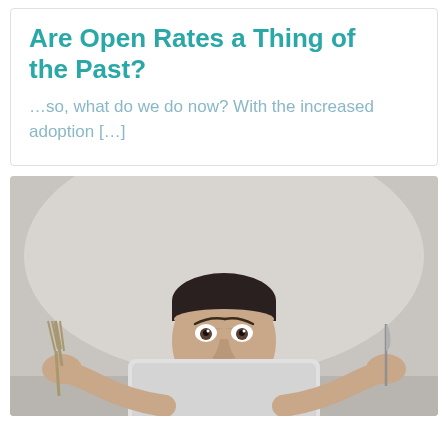Are Open Rates a Thing of the Past?
…so, what do we do now? With the increased adoption […]
[Figure (photo): A man peers over the top of a laptop computer with wide eyes, holding a fork in his left hand and a knife in his right hand, against a light grey background.]